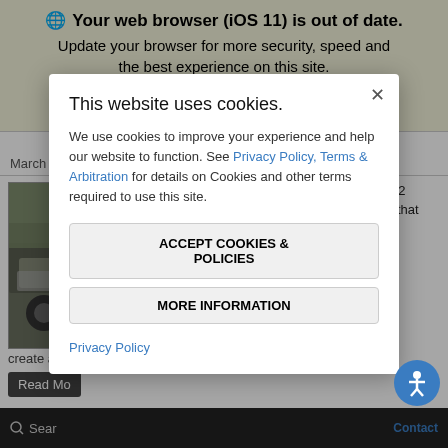Your web browser (iOS 11) is out of date. Update your browser for more security, speed and the best experience on this site.
March 11th, 2022 by Julian
Photo credit: Volkswagen  The new 2022 Volkswagen Jetta is a tech-filled sedan that tips. The ct fficiency, ver of a s handling create a d
Read Mo
Posted in News, Southern
[Figure (screenshot): Cookie consent modal dialog overlay on top of a webpage. Modal contains title 'This website uses cookies.', body text about cookie usage with links to Privacy Policy and Terms & Arbitration, two buttons: ACCEPT COOKIES & POLICIES and MORE INFORMATION, and a Privacy Policy link at the bottom. Behind the modal is a browser update warning banner and a partially visible article about 2022 Volkswagen Jetta.]
Search  Contact